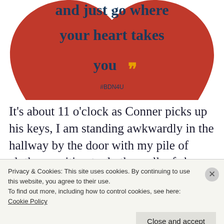[Figure (illustration): Red heart-shaped tag/ornament showing text 'and just go where your heart takes you' with a quotation mark graphic and hashtag #BDN4U, rendered in dark blue serif font on red background. Only the bottom portion of the heart is visible.]
It's about 11 o'clock as Conner picks up his keys, I am standing awkwardly in the hallway by the door with my pile of clothes, waiting to do the walk of shame back to Savannah's
Privacy & Cookies: This site uses cookies. By continuing to use this website, you agree to their use.
To find out more, including how to control cookies, see here:
Cookie Policy
Close and accept